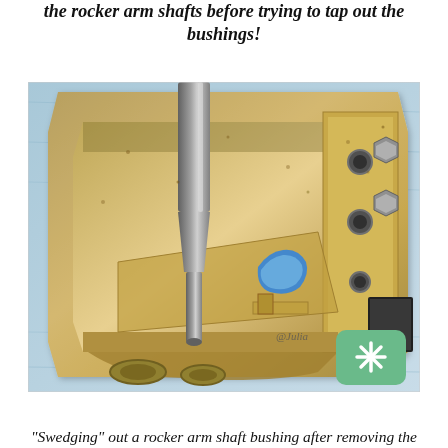the rocker arm shafts before trying to tap out the bushings!
[Figure (photo): Close-up photograph of a brass/bronze rocker arm housing being worked on a blue cloth surface. A metal punch or drift tool is being used to swidge out a rocker arm shaft bushing. A blue plastic piece is visible inside the housing, along with various machined cavities and bolt holes. A watermark '@Julia' and a green rounded-square logo with a snowflake/asterisk icon appear in the lower right corner.]
"Swedging" out a rocker arm shaft bushing after removing the